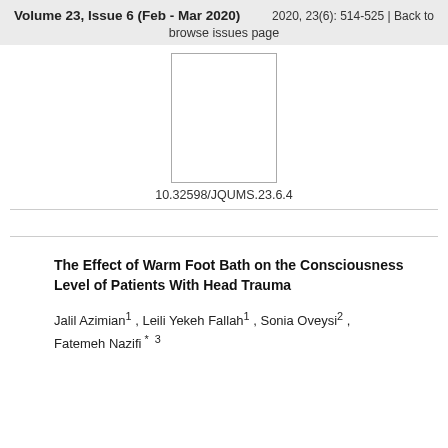Volume 23, Issue 6 (Feb - Mar 2020)    2020, 23(6): 514-525 | Back to browse issues page
[Figure (other): QR code or cover image placeholder box (white rectangle with border)]
10.32598/JQUMS.23.6.4
The Effect of Warm Foot Bath on the Consciousness Level of Patients With Head Trauma
Jalil Azimian1 , Leili Yekeh Fallah1 , Sonia Oveysi2 , Fatemeh Nazifi * 3